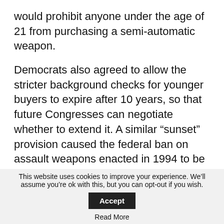would prohibit anyone under the age of 21 from purchasing a semi-automatic weapon.
Democrats also agreed to allow the stricter background checks for younger buyers to expire after 10 years, so that future Congresses can negotiate whether to extend it. A similar “sunset” provision caused the federal ban on assault weapons enacted in 1994 to be repealed in 2004, much to the dismay of Democrats, who have never been able to rally enough support to revive it.
This website uses cookies to improve your experience. We’ll assume you’re ok with this, but you can opt-out if you wish. Accept Read More